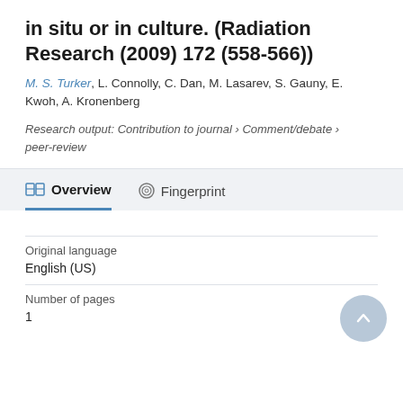in situ or in culture. (Radiation Research (2009) 172 (558-566))
M. S. Turker, L. Connolly, C. Dan, M. Lasarev, S. Gauny, E. Kwoh, A. Kronenberg
Research output: Contribution to journal › Comment/debate › peer-review
Overview   Fingerprint
| Field | Value |
| --- | --- |
| Original language | English (US) |
| Number of pages | 1 |